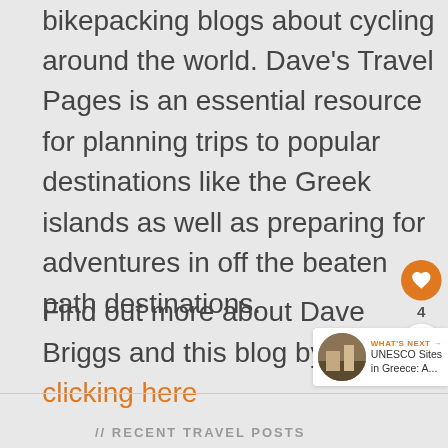bikepacking blogs about cycling around the world. Dave's Travel Pages is an essential resource for planning trips to popular destinations like the Greek islands as well as preparing for adventures in off the beaten path destinations.
Find out more about Dave Briggs and this blog by clicking here
[Figure (other): Social sharing widget with orange heart button (count: 4) and share button]
[Figure (other): What's Next widget showing UNESCO Sites in Greece: A... with thumbnail image]
// RECENT TRAVEL POSTS